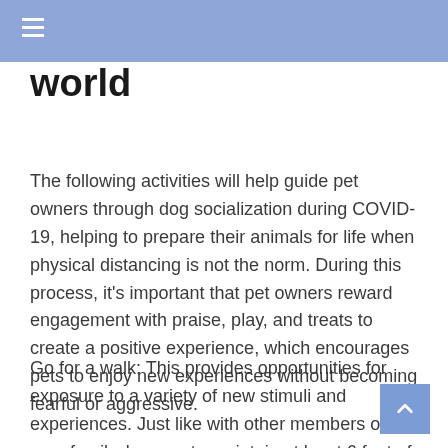☰
world
The following activities will help guide pet owners through dog socialization during COVID-19, helping to prepare their animals for life when physical distancing is not the norm. During this process, it's important that pet owners reward engagement with praise, play, and treats to create a positive experience, which encourages pets to enjoy new experiences without becoming fearful or aggressive.
Go for a walk: This provides opportunities for exposure to a variety of new stimuli and experiences. Just like with other members of your family, be sure to maintain at least 6 feet of separation from other